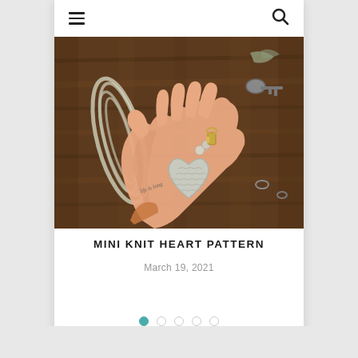≡  🔍 navigation bar
[Figure (photo): A hand holding a small knitted heart keychain with wooden beads and a gold clip, against a wooden background with a skein of light gray yarn and keys visible]
MINI KNIT HEART PATTERN
March 19, 2021
[Figure (other): Carousel pagination dots: 5 dots, first filled teal, rest empty circles]